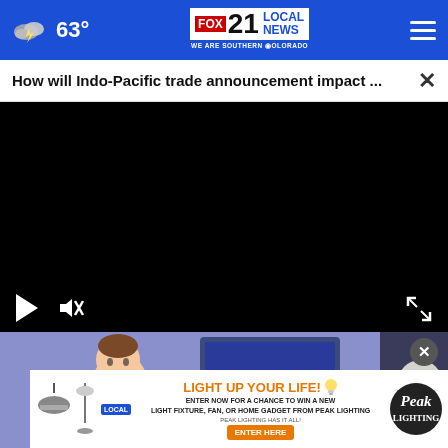63° Fox 21 Local News — We Are Southern Colorado
How will Indo-Pacific trade announcement impact ...
[Figure (screenshot): Black video player area with play button, mute button, and fullscreen icon controls at bottom]
[Figure (illustration): Cartoon illustration of a person in a room, partial view at bottom]
[Figure (infographic): Advertisement banner: LIGHT UP YOUR LIFE! Enter now for a chance to win a new light fixture, fan, or home gadget from Peak Lighting. ENTER HERE. PEAK LIGHTING HAS IT ALL!]